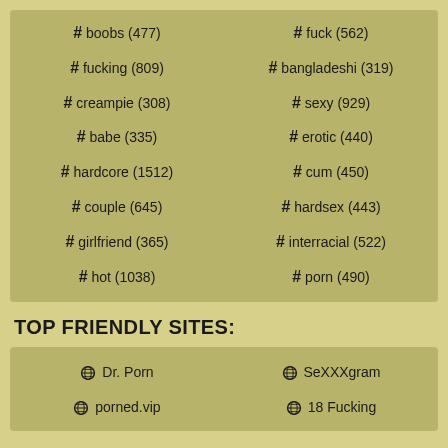# boobs (477)
# fuck (562)
# fucking (809)
# bangladeshi (319)
# creampie (308)
# sexy (929)
# babe (335)
# erotic (440)
# hardcore (1512)
# cum (450)
# couple (645)
# hardsex (443)
# girlfriend (365)
# interracial (522)
# hot (1038)
# porn (490)
TOP FRIENDLY SITES:
Dr. Porn
SeXXXgram
porned.vip
18 Fucking